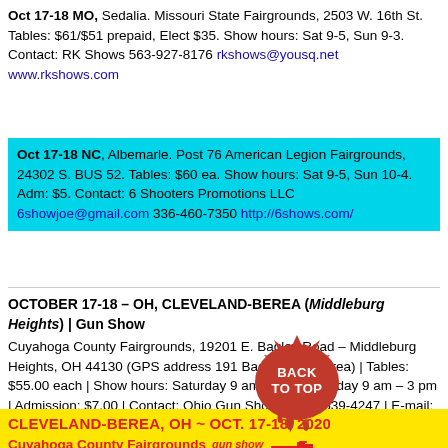Oct 17-18 MO, Sedalia. Missouri State Fairgrounds, 2503 W. 16th St. Tables: $61/$51 prepaid, Elect $35. Show hours: Sat 9-5, Sun 9-3. Contact: RK Shows 563-927-8176 rkshows@yousq.net www.rkshows.com
Oct 17-18 NC, Albemarle. Post 76 American Legion Fairgrounds, 24302 S. BUS 52. Tables: $60 ea. Show hours: Sat 9-5, Sun 10-4. Adm: $5. Contact: 6 Shooters Promotions LLC 6showjoe@gmail.com 336-460-7350 http://6shows.com/
OCTOBER 17-18 – OH, CLEVELAND-BEREA (Middleburg Heights) | Gun Show
Cuyahoga County Fairgrounds, 19201 E. Bagley Road – Middleburg Heights, OH 44130 (GPS address 191 Bagley Rd., Berea) | Tables: $55.00 each | Show hours: Saturday 9 am – 5 pm, Sunday 9 am – 3 pm | Admission: $7.00 | Contact: Ohio Gun Shows | 330-539-4247 | E-mail: info@ohiogunshows.com | Web: http://www.ohiogunshows.com/
CLEVELAND-BEREA, OH ~ OCT. 17-18, 2020 Cuyahoga County Fairgrounds gun show 19201 E. Bagley Road